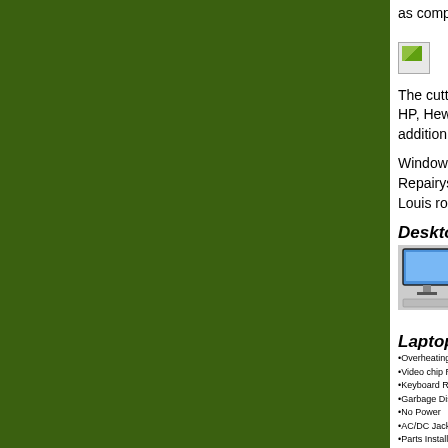as components ac
[Figure (photo): Small broken image placeholder icon]
The cutting edge c HP, Hewlett-Packa addition to many o
Windows PC https: Repairystems that Louis routinely serv
[Figure (illustration): Desktop Computer repair services advertisement showing a desktop PC with monitor and list of services including: Reformat, Troubleshoot, Virus Removal, Network, Data Recovery, Data Backup]
[Figure (illustration): Laptop Computer repair services section listing: Overheating Repair, Video chip Repair, Keyboard Replacement, Garbage Display Repair, No Power, AC/DC Jack, Parts Install/Upgrade LCD Replacement, Hinge Repair/Replacement, and more. Shows laptop images at bottom.]